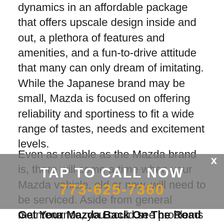dynamics in an affordable package that offers upscale design inside and out, a plethora of features and amenities, and a fun-to-drive attitude that many can only dream of imitating. While the Japanese brand may be small, Mazda is focused on offering reliability and sportiness to fit a wide range of tastes, needs and excitement levels.
Even as reliable as the Mazda brand is, there will come a time when your Mazda vehicle, old or new, will need to be serviced. Aside from general maintenance, you could see problems with the battery, interior quality over the life of the vehicle and excess engine noise, depending on the model and year of the vehicle.
[Figure (other): Call-to-action overlay banner with text 'TAP TO CALL NOW' and phone number '773-625-7360' with a close X button]
Get Your Mazda Back On The Road Quickly